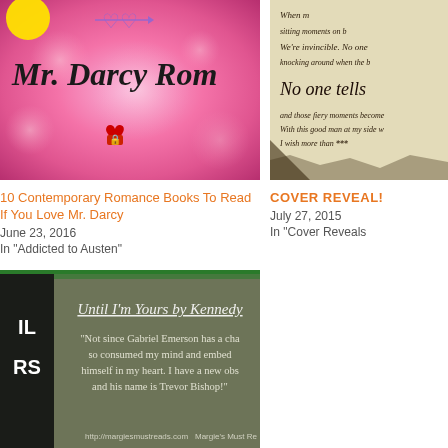[Figure (photo): Book blog image for Mr. Darcy Romance with pink bokeh background, cursive title text, purple hearts, and red heart locket]
10 Contemporary Romance Books To Read If You Love Mr. Darcy
June 23, 2016
In "Addicted to Austen"
[Figure (photo): Book cover/banner image for a book with cursive writing on aged paper background]
COVER REVEAL!
July 27, 2015
In "Cover Reveals
[Figure (photo): Book promotional image for Until I'm Yours by Kennedy Ryan with green border, book spine visible, quote about Gabriel Emerson and Trevor Bishop]
Until I'm Yours by Kennedy Ryan ~ Review
February 7, 2016